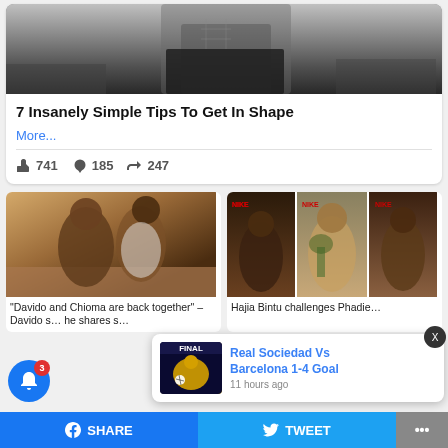[Figure (photo): Gym/fitness photo showing a person's torso with abs in athletic shorts, gym equipment visible in background]
7 Insanely Simple Tips To Get In Shape
More...
741  185  247
[Figure (photo): Davido and Chioma together, couple photo]
"Davido and Chioma are back together" – Davido shares
[Figure (photo): Hajia Bintu challenging Phadie - collage of three photos]
Hajia Bintu challenges Phadie
[Figure (screenshot): Notification popup: Real Sociedad Vs Barcelona 1-4 Goal, 11 hours ago]
Real Sociedad Vs Barcelona 1-4 Goal
11 hours ago
SHARE   TWEET   ...